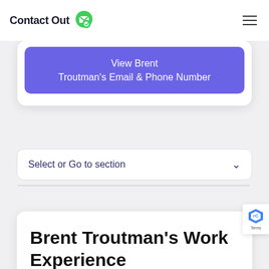ContactOut
View Brent Troutman's Email & Phone Number
Select or Go to section
Brent Troutman's Work Experience